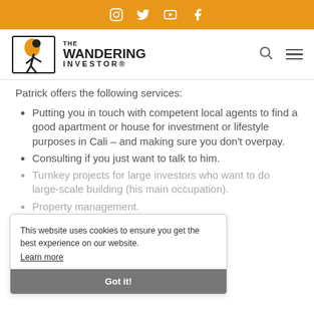Social media icons: Instagram, Twitter, YouTube, Facebook
[Figure (logo): The Wandering Investor logo with backpacker icon]
Patrick offers the following services:
Putting you in touch with competent local agents to find a good apartment or house for investment or lifestyle purposes in Cali – and making sure you don't overpay.
Consulting if you just want to talk to him.
Turnkey projects for large investors who want to do large-scale building (his main occupation).
Property management.
This website uses cookies to ensure you get the best experience on our website. Learn more Got it!